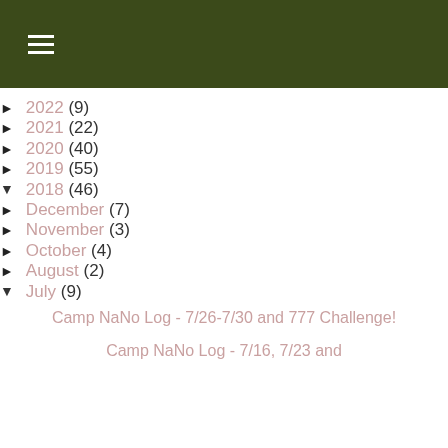☰ (hamburger menu icon)
► 2022 (9)
► 2021 (22)
► 2020 (40)
► 2019 (55)
▼ 2018 (46)
► December (7)
► November (3)
► October (4)
► August (2)
▼ July (9)
Camp NaNo Log - 7/26-7/30 and 777 Challenge!
Camp NaNo Log - 7/16, 7/23 and